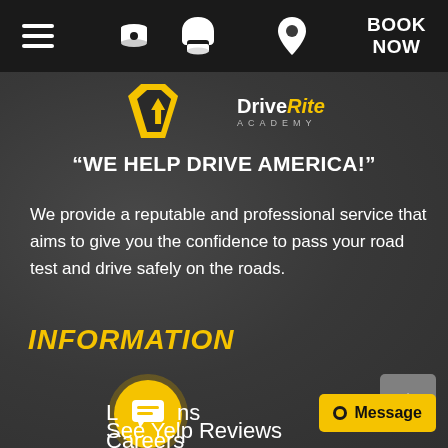Navigation bar with hamburger menu, phone icon, location pin icon, and BOOK NOW button
[Figure (logo): DriveRite Academy logo with yellow shield/arrow emblem and text 'DriveRite ACADEMY']
“WE HELP DRIVE AMERICA!”
We provide a reputable and professional service that aims to give you the confidence to pass your road test and drive safely on the roads.
INFORMATION
Locations
Careers
See Yelp Reviews